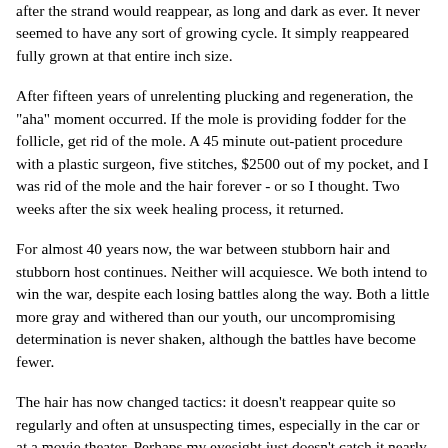after the strand would reappear, as long and dark as ever. It never seemed to have any sort of growing cycle. It simply reappeared fully grown at that entire inch size.
After fifteen years of unrelenting plucking and regeneration, the "aha" moment occurred. If the mole is providing fodder for the follicle, get rid of the mole. A 45 minute out-patient procedure with a plastic surgeon, five stitches, $2500 out of my pocket, and I was rid of the mole and the hair forever - or so I thought. Two weeks after the six week healing process, it returned.
For almost 40 years now, the war between stubborn hair and stubborn host continues. Neither will acquiesce. We both intend to win the war, despite each losing battles along the way. Both a little more gray and withered than our youth, our uncompromising determination is never shaken, although the battles have become fewer.
The hair has now changed tactics: it doesn't reappear quite so regularly and often at unsuspecting times, especially in the car or at a movie theater. Perhaps my eyesight just doesn't catch it nearly so soon, but when it is discovered, I've